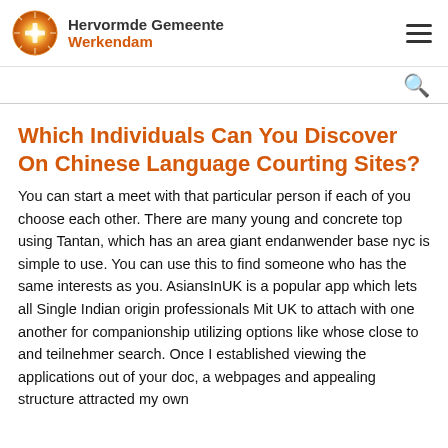Hervormde Gemeente Werkendam
Which Individuals Can You Discover On Chinese Language Courting Sites?
You can start a meet with that particular person if each of you choose each other. There are many young and concrete top using Tantan, which has an area giant endanwender base nyc is simple to use. You can use this to find someone who has the same interests as you. AsiansInUK is a popular app which lets all Single Indian origin professionals Mit UK to attach with one another for companionship utilizing options like whose close to and teilnehmer search. Once I established viewing the applications out of your doc, a webpages and appealing structure attracted my own